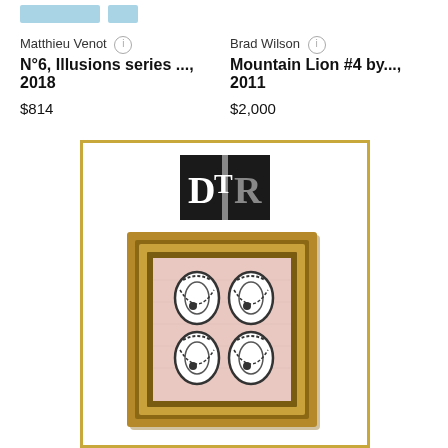Matthieu Venot
N°6, Illusions series ..., 2018
$814
Brad Wilson
Mountain Lion #4 by..., 2011
$2,000
[Figure (illustration): Art marketplace listing card with gold border containing a gallery logo (DTR) and a framed painting by Hunt Slonem showing four white butterfly/flip-flop shapes on pink background with gold ornate frame. Artist name 'Hunt Slonem' and title 'Swish' shown below.]